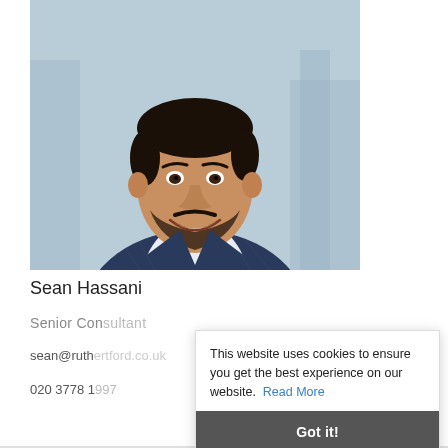[Figure (photo): Professional headshot of a man in a navy blue plaid suit with white shirt, smiling, with blurred city background]
Sean Hassani
Senior Consultant
sean@ruth...
020 3778 1997
This website uses cookies to ensure you get the best experience on our website. Read More Got it!